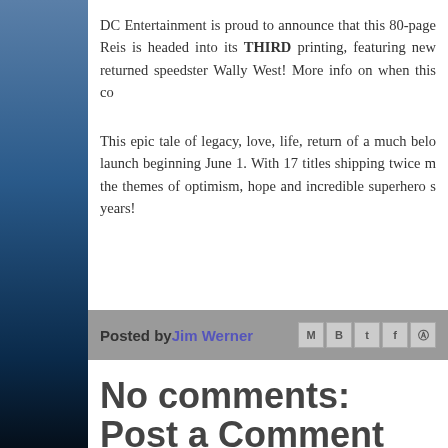DC Entertainment is proud to announce that this 80-page Reis is headed into its THIRD printing, featuring new returned speedster Wally West! More info on when this co
This epic tale of legacy, love, life, return of a much bel launch beginning June 1. With 17 titles shipping twice m the themes of optimism, hope and incredible superhero s years!
Posted by Jim Werner
No comments:
Post a Comment